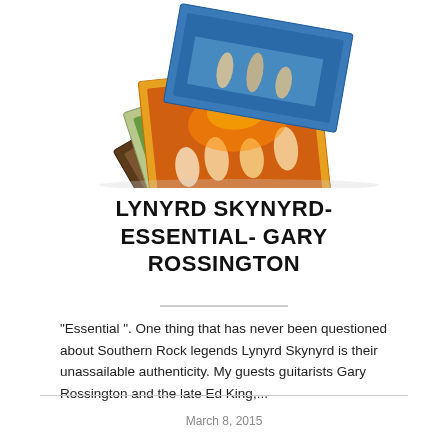[Figure (photo): A fan-spread stack of Lynyrd Skynyrd vinyl album covers, photographed at an angle on a white background.]
LYNYRD SKYNYRD- ESSENTIAL- GARY ROSSINGTON
"Essential ". One thing that has never been questioned about Southern Rock legends Lynyrd Skynyrd is their unassailable authenticity. My guests guitarists Gary Rossington and the late Ed King,...
March 8, 2015